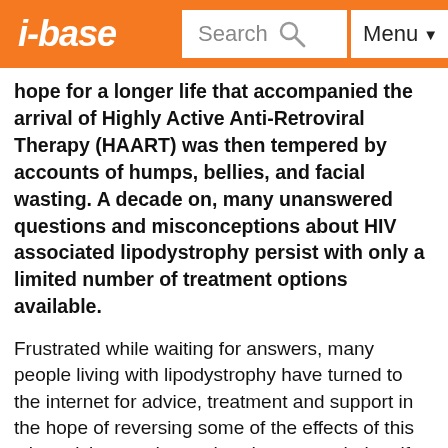i-base | Search | Menu
hope for a longer life that accompanied the arrival of Highly Active Anti-Retroviral Therapy (HAART) was then tempered by accounts of humps, bellies, and facial wasting. A decade on, many unanswered questions and misconceptions about HIV associated lipodystrophy persist with only a limited number of treatment options available.
Frustrated while waiting for answers, many people living with lipodystrophy have turned to the internet for advice, treatment and support in the hope of reversing some of the effects of this stigmatising syndrome that decreases their self image, mental health, quality of life, and the possibility to re-enter the work force. Most approved interventions for lipodystrophy are perceived as purely cosmetic and have a very low probability of reimbursement. Therefore, it is important that more data are generated from patients to